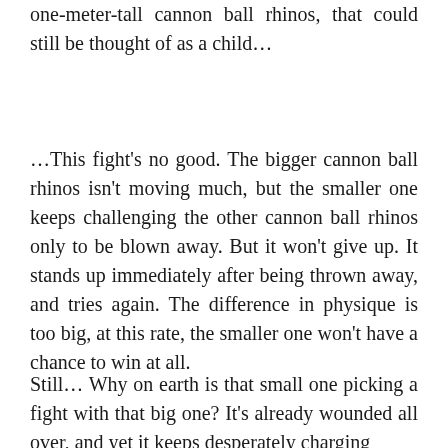one-meter-tall cannon ball rhinos, that could still be thought of as a child…
…This fight's no good. The bigger cannon ball rhinos isn't moving much, but the smaller one keeps challenging the other cannon ball rhinos only to be blown away. But it won't give up. It stands up immediately after being thrown away, and tries again. The difference in physique is too big, at this rate, the smaller one won't have a chance to win at all.
Still… Why on earth is that small one picking a fight with that big one? It's already wounded all over, and yet it keeps desperately charging